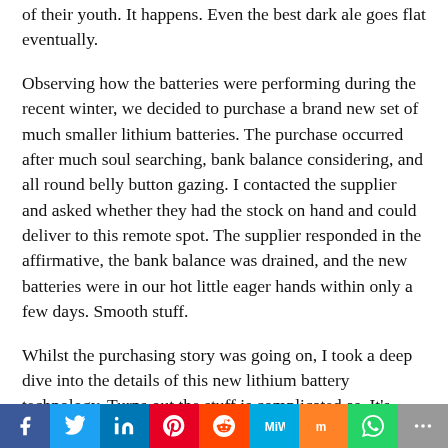of their youth. It happens. Even the best dark ale goes flat eventually.
Observing how the batteries were performing during the recent winter, we decided to purchase a brand new set of much smaller lithium batteries. The purchase occurred after much soul searching, bank balance considering, and all round belly button gazing. I contacted the supplier and asked whether they had the stock on hand and could deliver to this remote spot. The supplier responded in the affirmative, the bank balance was drained, and the new batteries were in our hot little eager hands within only a few days. Smooth stuff.
Whilst the purchasing story was going on, I took a deep dive into the details of this new lithium battery technology. Turns out the stuff is complicated as. It's
Facebook Twitter LinkedIn Pinterest Reddit MeWe Mix WhatsApp More